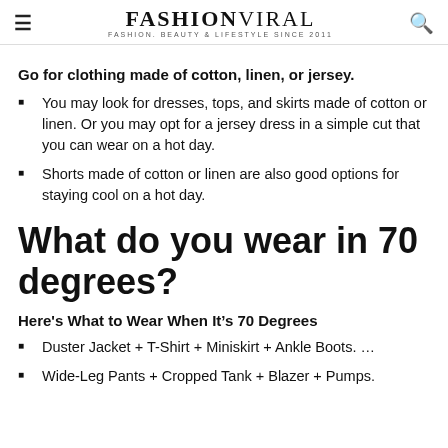FASHIONVIRAL — FASHION. BEAUTY & LIFESTYLE SINCE 2011
Go for clothing made of cotton, linen, or jersey.
You may look for dresses, tops, and skirts made of cotton or linen. Or you may opt for a jersey dress in a simple cut that you can wear on a hot day.
Shorts made of cotton or linen are also good options for staying cool on a hot day.
What do you wear in 70 degrees?
Here's What to Wear When It's 70 Degrees
Duster Jacket + T-Shirt + Miniskirt + Ankle Boots. …
Wide-Leg Pants + Cropped Tank + Blazer + Pumps.